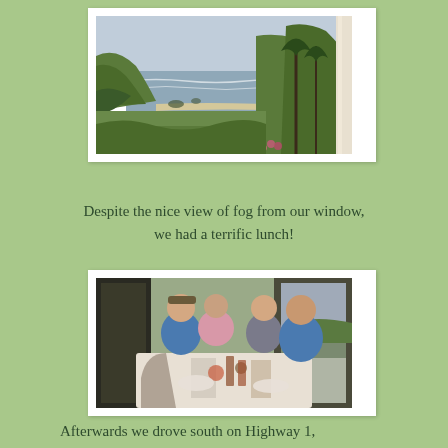[Figure (photo): Coastal landscape view showing foggy ocean, green hillside cliffs, beach, trees, and a window frame on the right side]
Despite the nice view of fog from our window, we had a terrific lunch!
[Figure (photo): Four people seated at a restaurant table near large windows with ocean view, enjoying lunch together]
Afterwards we drove south on Highway 1,